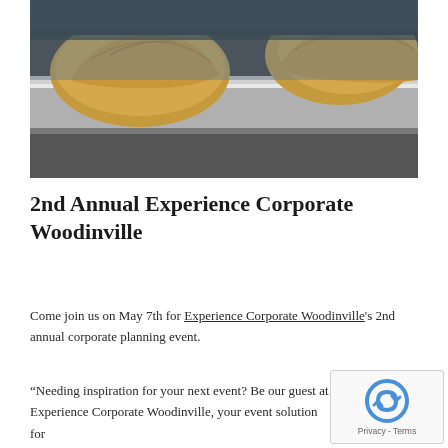[Figure (photo): Close-up photo of baked pastries on a metal baking tray, blurred background with dark tones]
2nd Annual Experience Corporate Woodinville
Come join us on May 7th for Experience Corporate Woodinville's 2nd annual corporate planning event.
“Needing inspiration for your next event? Be our guest at Experience Corporate Woodinville, your event solution for